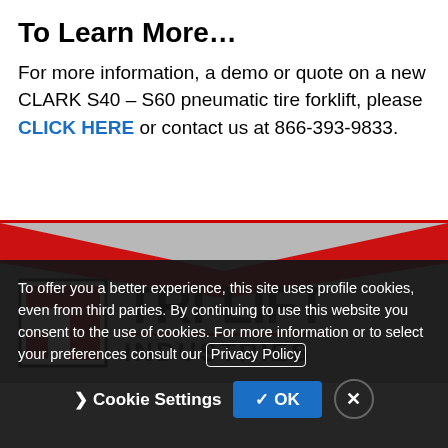To Learn More…
For more information, a demo or quote on a new CLARK S40 – S60 pneumatic tire forklift, please CLICK HERE or contact us at 866-393-9833.
[Figure (logo): Tri-Lift Industries logo with red T icon and bold TRI-LIFT INDUSTRIES text on grey chevron background]
To offer you a better experience, this site uses profile cookies, even from third parties. By continuing to use this website you consent to the use of cookies. For more information or to select your preferences consult our Privacy Policy
Cookie Settings  ✓ OK